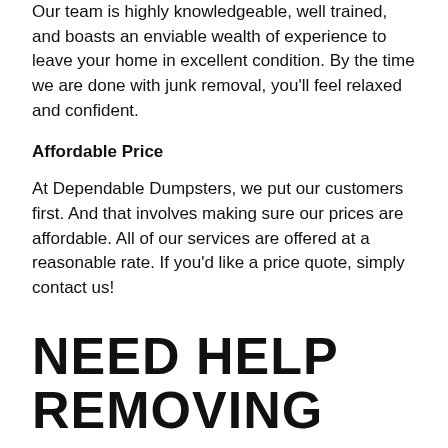Our team is highly knowledgeable, well trained, and boasts an enviable wealth of experience to leave your home in excellent condition. By the time we are done with junk removal, you'll feel relaxed and confident.
Affordable Price
At Dependable Dumpsters, we put our customers first. And that involves making sure our prices are affordable. All of our services are offered at a reasonable rate. If you'd like a price quote, simply contact us!
NEED HELP REMOVING
JUNK FROM A